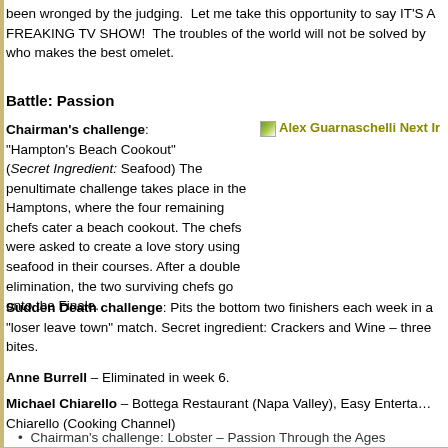been wronged by the judging. Let me take this opportunity to say IT'S A FREAKING TV SHOW! The troubles of the world will not be solved by who makes the best omelet.
Battle: Passion
Chairman's challenge: "Hampton's Beach Cookout" (Secret Ingredient: Seafood) The penultimate challenge takes place in the Hamptons, where the four remaining chefs cater a beach cookout. The chefs were asked to create a love story using seafood in their courses. After a double elimination, the two surviving chefs go onto the Finale.
[Figure (photo): Alex Guarnaschelli Next Iron Chef image placeholder]
Sudden Death challenge: Pits the bottom two finishers each week in a "loser leave town" match. Secret ingredient: Crackers and Wine – three bites.
Anne Burrell – Eliminated in week 6.
Michael Chiarello – Bottega Restaurant (Napa Valley), Easy Entertaining with Michael Chiarello (Cooking Channel)
Chairman's challenge: Lobster – Passion Through the Ages